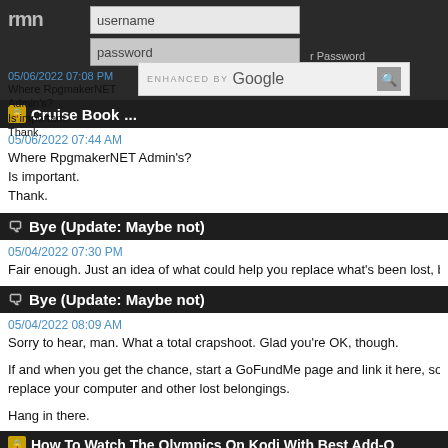rmn - username / password login area with Google search bar
🔒 Cruise Boo...
05/06/2022 07:44 AM
Where RpgmakerNET Admin's?
Is important.
Thank.
💬 Bye (Update: Maybe not)
05/04/2022 07:30 PM
Fair enough. Just an idea of what could help you replace what's been lost, besi
💬 Bye (Update: Maybe not)
05/04/2022 08:09 AM
Sorry to hear, man. What a total crapshoot. Glad you're OK, though.

If and when you get the chance, start a GoFundMe page and link it here, so tha replace your computer and other lost belongings.

Hang in there.
🔒 How To Watch The Olympics On Kodi With Best Add-O
04/27/2022 04:21 AM
Do you also glow in the dark?
🔒 Where is Administration rpgmaker.net ??